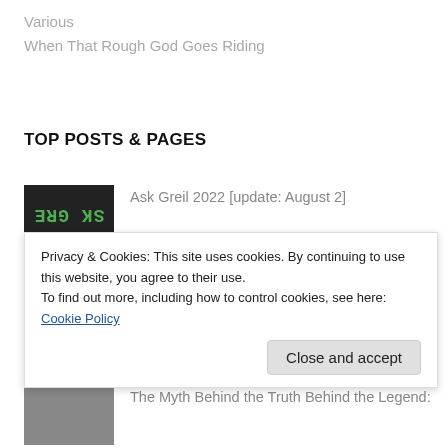Various
When That Rough God Goes Riding
TOP POSTS & PAGES
Ask Greil 2022 [update: August 2]
"Critical aim remains sharp..." More Real Life Rock reviewed in 'The Current' (8/5/22)
Elvis: Presliad (intro)
The Myth Behind the Truth Behind the Legend:
Privacy & Cookies: This site uses cookies. By continuing to use this website, you agree to their use.
To find out more, including how to control cookies, see here: Cookie Policy